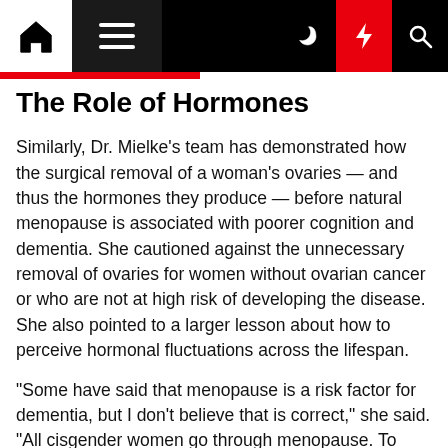Navigation bar with home, menu, moon, lightning, and search icons
The Role of Hormones
Similarly, Dr. Mielke's team has demonstrated how the surgical removal of a woman's ovaries — and thus the hormones they produce — before natural menopause is associated with poorer cognition and dementia. She cautioned against the unnecessary removal of ovaries for women without ovarian cancer or who are not at high risk of developing the disease. She also pointed to a larger lesson about how to perceive hormonal fluctuations across the lifespan.
"Some have said that menopause is a risk factor for dementia, but I don't believe that is correct," she said. "All cisgender women go through menopause. To blame menopause would be like saying puberty is a risk factor for heart disease".